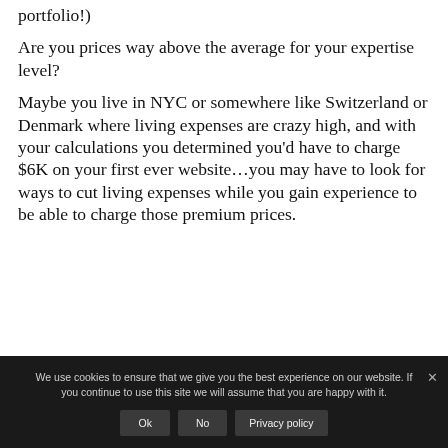portfolio!)
Are you prices way above the average for your expertise level?
Maybe you live in NYC or somewhere like Switzerland or Denmark where living expenses are crazy high, and with your calculations you determined you'd have to charge $6K on your first ever website…you may have to look for ways to cut living expenses while you gain experience to be able to charge those premium prices.
We use cookies to ensure that we give you the best experience on our website. If you continue to use this site we will assume that you are happy with it.
Ok
No
Privacy policy